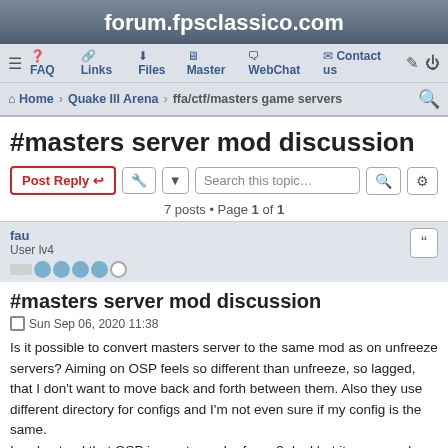forum.fpsclassico.com
≡  FAQ  Links  Files  Master  WebChat  Contact us
Home  Quake III Arena  ffa/ctf/masters game servers
#masters server mod discussion
7 posts • Page 1 of 1
fau
User lv4
#masters server mod discussion
Sun Sep 06, 2020 11:38
Is it possible to convert masters server to the same mod as on unfreeze servers? Aiming on OSP feels so different than unfreeze, so lagged, that I don't want to move back and forth between them. Also they use different directory for configs and I'm not even sure if my config is the same.
I understand that OSP is most popular for vq3 duel but it seems only unfreeze players go there anyway. I'm sure most of them would appreciate all servers having the same feeling to them.